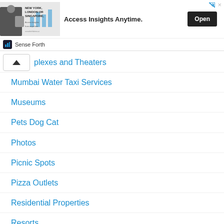[Figure (screenshot): Advertisement banner: image of a businessman with text 'NEW YORK, LONDON OR SINGAPORE,' on the left, 'Access Insights Anytime.' in the center, and an 'Open' button on the right. Below shows 'Sense Forth' brand logo.]
plexes and Theaters
Mumbai Water Taxi Services
Museums
Pets Dog Cat
Photos
Picnic Spots
Pizza Outlets
Residential Properties
Resorts
Services
Travel Guide
Various Information